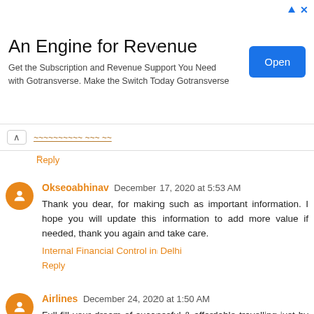[Figure (other): Advertisement banner: 'An Engine for Revenue' with subtitle 'Get the Subscription and Revenue Support You Need with Gotransverse. Make the Switch Today Gotransverse' and an 'Open' button]
Reply
Okseoabhinav December 17, 2020 at 5:53 AM
Thank you dear, for making such as important information. I hope you will update this information to add more value if needed, thank you again and take care.
Internal Financial Control in Delhi
Reply
Airlines December 24, 2020 at 1:50 AM
Full-fill your dream of successful & affordable travelling just by dialling American Airlines Phone Number. Get